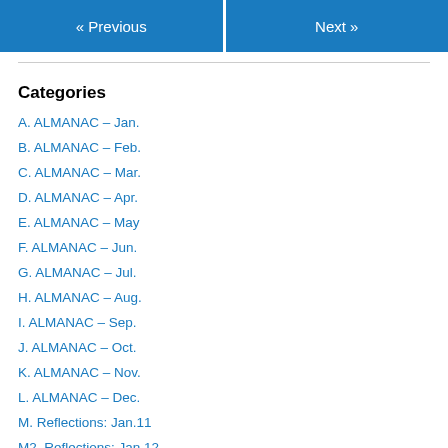« Previous   Next »
Categories
A. ALMANAC – Jan.
B. ALMANAC – Feb.
C. ALMANAC – Mar.
D. ALMANAC – Apr.
E. ALMANAC – May
F. ALMANAC – Jun.
G. ALMANAC – Jul.
H. ALMANAC – Aug.
I. ALMANAC – Sep.
J. ALMANAC – Oct.
K. ALMANAC – Nov.
L. ALMANAC – Dec.
M. Reflections: Jan.11
M2. Reflections: Jan.12